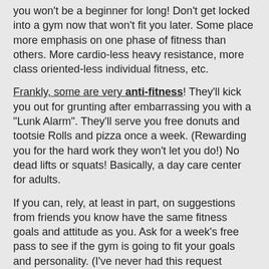you won't be a beginner for long! Don't get locked into a gym now that won't fit you later. Some place more emphasis on one phase of fitness than others. More cardio-less heavy resistance, more class oriented-less individual fitness, etc.
Frankly, some are very anti-fitness! They'll kick you out for grunting after embarrassing you with a "Lunk Alarm". They'll serve you free donuts and tootsie Rolls and pizza once a week. (Rewarding you for the hard work they won't let you do!) No dead lifts or squats! Basically, a day care center for adults.
If you can, rely, at least in part, on suggestions from friends you know have the same fitness goals and attitude as you. Ask for a week's free pass to see if the gym is going to fit your goals and personality. (I've never had this request denied)
Learn the rules and gym etiquette to increase your comfort level. Ask for a printed copy of their rules.
Compare prices! Don't necessarily go for the cheapest but